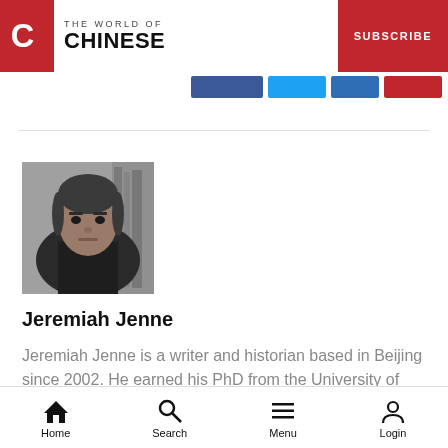THE WORLD OF CHINESE — SUBSCRIBE
[Figure (photo): Black and white headshot of Jeremiah Jenne, a man in his 40s with short dark hair, wearing a dark shirt, looking directly at the camera.]
Jeremiah Jenne
Jeremiah Jenne is a writer and historian based in Beijing since 2002. He earned his PhD from the University of California, Davis, and has taught Late Imperial and Modern
Home  Search  Menu  Login